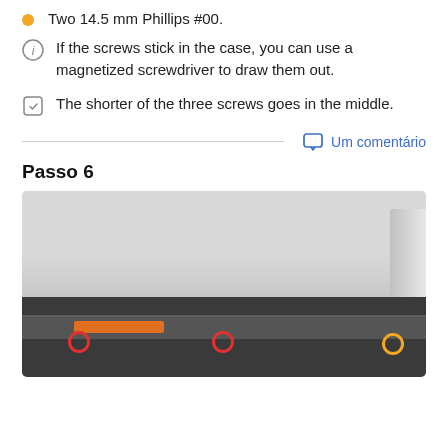Two 14.5 mm Phillips #00.
If the screws stick in the case, you can use a magnetized screwdriver to draw them out.
The shorter of the three screws goes in the middle.
Um comentário
Passo 6
[Figure (photo): Photo of laptop internals showing the bottom panel with three screws highlighted by circle markers — two red circles and one orange circle along the bottom edge, with an orange flex cable visible.]